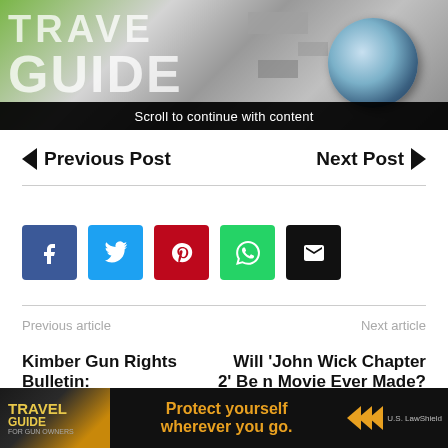[Figure (screenshot): Magazine banner with large text GUIDE and a camera lens graphic, with a green and gray background]
Scroll to continue with content
Previous Post
Next Post
[Figure (infographic): Social media share buttons: Facebook (blue), Twitter (cyan), Pinterest (red), WhatsApp (green), Email (black)]
Previous article
Next article
Kimber Gun Rights Bulletin:
Will ‘John Wick Chapter 2’ Be n Movie Ever Made?
[Figure (screenshot): Travel Guide for Gun Owners advertisement banner: Protect yourself wherever you go. U.S. LawShield]